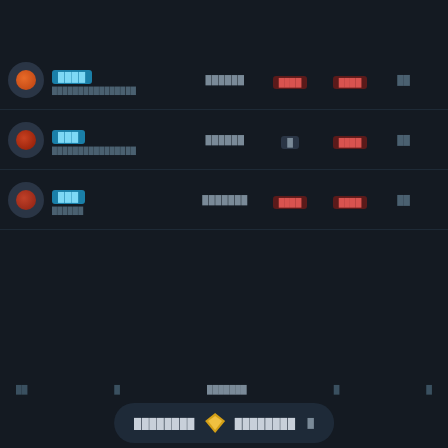[Figure (screenshot): Dark-themed cryptocurrency or trading platform UI showing a list of three asset rows. Each row has a circular avatar with orange/red icon, a cyan label tag with asset name and subtitle, a price value in gray, red negative percentage badges, and a change value. Below the list is a footer row, then a logo with a diamond icon and platform name in a pill-shaped area, followed by two small gray links at the bottom.]